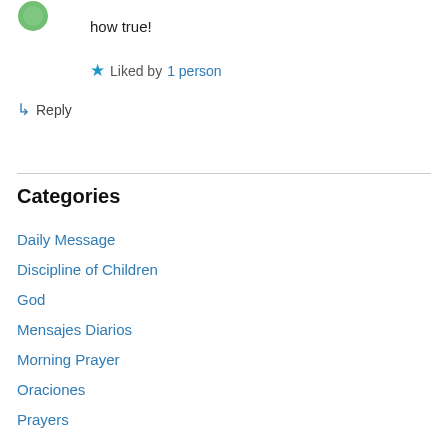how true!
Liked by 1 person
Reply
Categories
Daily Message
Discipline of Children
God
Mensajes Diarios
Morning Prayer
Oraciones
Prayers